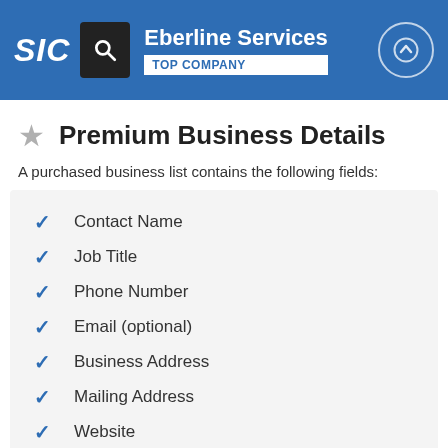SIC | Eberline Services | TOP COMPANY
Premium Business Details
A purchased business list contains the following fields:
Contact Name
Job Title
Phone Number
Email (optional)
Business Address
Mailing Address
Website
Latitude / Longitude
Modeled Credit Rating
Square Footage
Public / Private